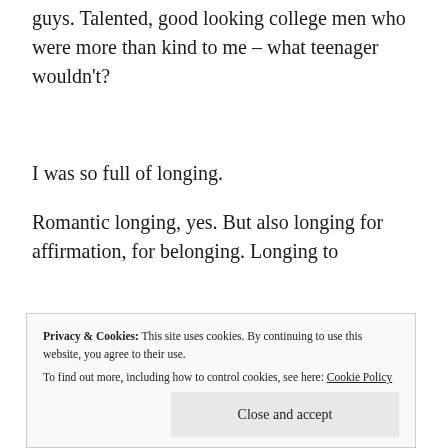guys. Talented, good looking college men who were more than kind to me – what teenager wouldn't?
I was so full of longing.
Romantic longing, yes. But also longing for affirmation, for belonging. Longing to
Privacy & Cookies: This site uses cookies. By continuing to use this website, you agree to their use. To find out more, including how to control cookies, see here: Cookie Policy
Close and accept